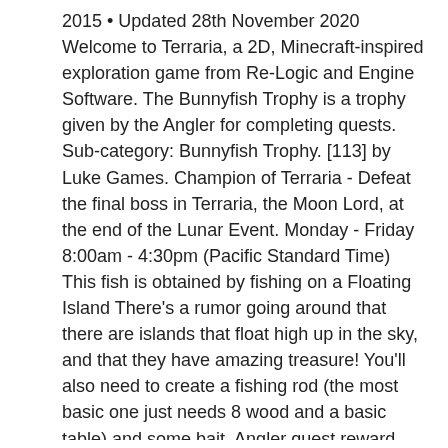2015 • Updated 28th November 2020 Welcome to Terraria, a 2D, Minecraft-inspired exploration game from Re-Logic and Engine Software. The Bunnyfish Trophy is a trophy given by the Angler for completing quests. Sub-category: Bunnyfish Trophy. [113] by Luke Games. Champion of Terraria - Defeat the final boss in Terraria, the Moon Lord, at the end of the Lunar Event. Monday - Friday 8:00am - 4:30pm (Pacific Standard Time) This fish is obtained by fishing on a Floating Island There's a rumor going around that there are islands that float high up in the sky, and that they have amazing treasure! You'll also need to create a fishing rod (the most basic one just needs 8 wood and a basic table) and some bait. Angler quest reward sell price increased from. Terraria Trophies. Placed every crafting station exactly 4 spaces apart, by a demon alter in the underground corruption, went through each station, scrolled through the pages, pressed square a few times on each page, (not specified